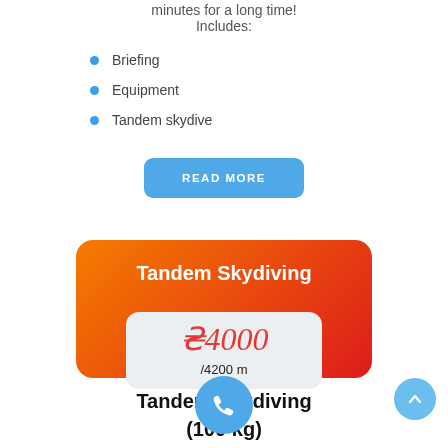minutes for a long time! Includes:
Briefing
Equipment
Tandem skydive
READ MORE
Tandem Skydiving
₴4000
/4200 m
Tandem Skydiving
(100 kg)